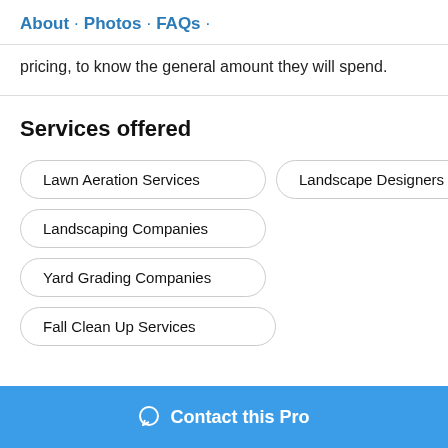About · Photos · FAQs ·
pricing, to know the general amount they will spend.
Services offered
Lawn Aeration Services
Landscape Designers
Landscaping Companies
Yard Grading Companies
Fall Clean Up Services
Contact this Pro